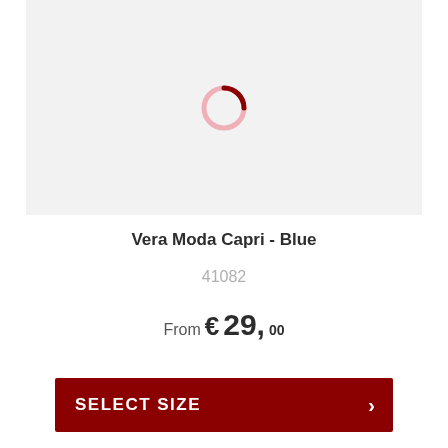[Figure (other): Loading spinner / circular progress indicator with dark red top arc and light pink circular outline on light grey background]
Vera Moda Capri - Blue
41082
From € 29,00
SELECT SIZE >